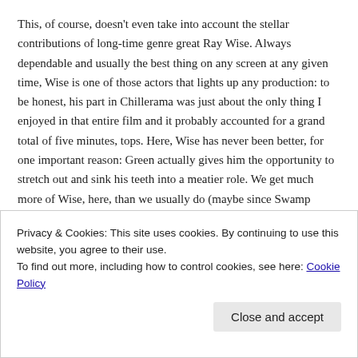This, of course, doesn't even take into account the stellar contributions of long-time genre great Ray Wise. Always dependable and usually the best thing on any screen at any given time, Wise is one of those actors that lights up any production: to be honest, his part in Chillerama was just about the only thing I enjoyed in that entire film and it probably accounted for a grand total of five minutes, tops. Here, Wise has never been better, for one important reason: Green actually gives him the opportunity to stretch out and sink his teeth into a meatier role. We get much more of Wise, here, than we usually do (maybe since Swamp Thing (1982), to be honest) and the results
Privacy & Cookies: This site uses cookies. By continuing to use this website, you agree to their use.
To find out more, including how to control cookies, see here: Cookie Policy
Close and accept
should serve as a wake up call for other filmmakers: